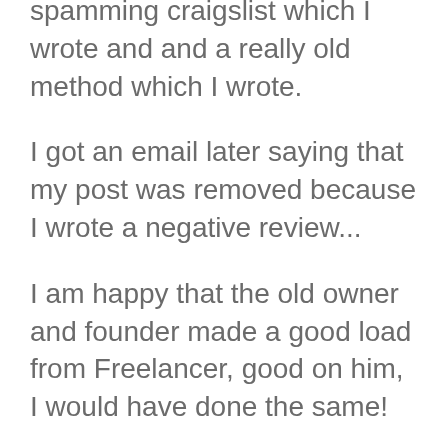spamming craigslist which I wrote and and a really old method which I wrote.
I got an email later saying that my post was removed because I wrote a negative review...
I am happy that the old owner and founder made a good load from Freelancer, good on him, I would have done the same!
It seems like the people at Freelancer have no idea what the WF used to stand for!